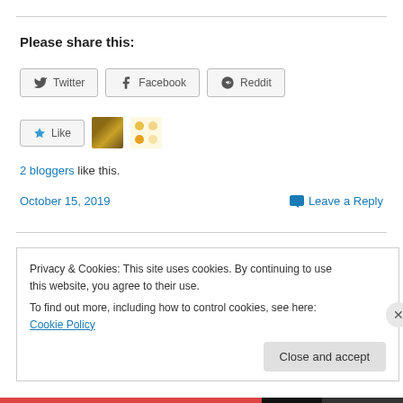Please share this:
Twitter  Facebook  Reddit
Like  [avatar] [dots]
2 bloggers like this.
October 15, 2019   Leave a Reply
Holiday Gratitude
Privacy & Cookies: This site uses cookies. By continuing to use this website, you agree to their use.
To find out more, including how to control cookies, see here: Cookie Policy